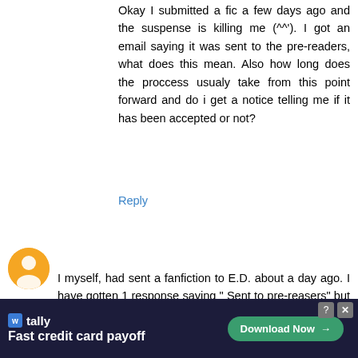Okay I submitted a fic a few days ago and the suspense is killing me (^^'). I got an email saying it was sent to the pre-readers, what does this mean. Also how long does the proccess usualy take from this point forward and do i get a notice telling me if it has been accepted or not?
Reply
blackgirlanimefan15  December 20, 2011 at 12:11 AM
I myself, had sent a fanfiction to E.D. about a day ago. I have gotten 1 response saying " Sent to pre-reasers" but that is all. I'm very excited but I want to know how long this usually takes.

Btw I used hotmail
Reply
Hivemind  December 22, 2011 at 5:09 PM
Even if we did something wrong with the submission
[Figure (infographic): Tally advertisement banner: Fast credit card payoff. Download Now button. Dark background with close and help icons.]